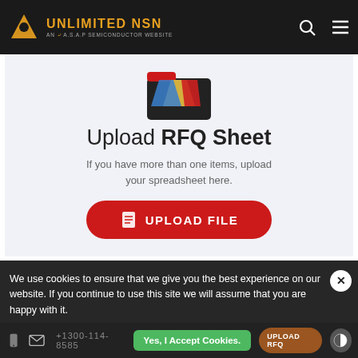UNLIMITED NSN — AN A.S.A.P SEMICONDUCTOR WEBSITE
[Figure (illustration): Folder icon with colorful document tabs (red, yellow, blue)]
Upload RFQ Sheet
If you have more than one items, upload your spreadsheet here.
[Figure (other): Red rounded button with document icon and text UPLOAD FILE]
We use cookies to ensure that we give you the best experience on our website. If you continue to use this site we will assume that you are happy with it.
Yes, I Accept Cookies.